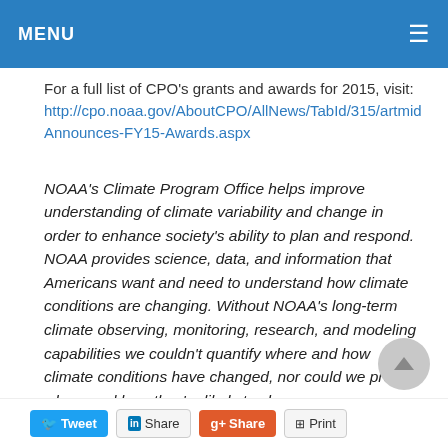MENU
For a full list of CPO's grants and awards for 2015, visit: http://cpo.noaa.gov/AboutCPO/AllNews/TabId/315/artmid Announces-FY15-Awards.aspx
NOAA's Climate Program Office helps improve understanding of climate variability and change in order to enhance society's ability to plan and respond. NOAA provides science, data, and information that Americans want and need to understand how climate conditions are changing. Without NOAA's long-term climate observing, monitoring, research, and modeling capabilities we couldn't quantify where and how climate conditions have changed, nor could we predict where and how they're likely to change.